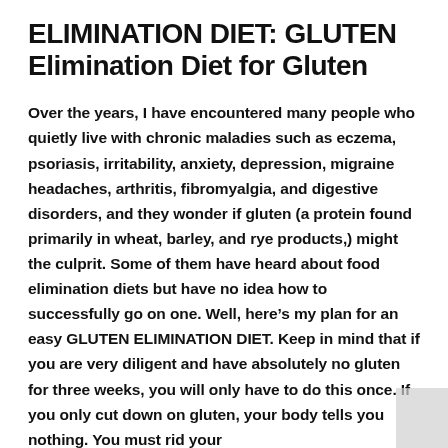ELIMINATION DIET: GLUTEN Elimination Diet for Gluten
Over the years, I have encountered many people who quietly live with chronic maladies such as eczema, psoriasis, irritability, anxiety, depression, migraine headaches, arthritis, fibromyalgia, and digestive disorders, and they wonder if gluten (a protein found primarily in wheat, barley, and rye products,) might the culprit. Some of them have heard about food elimination diets but have no idea how to successfully go on one. Well, here’s my plan for an easy GLUTEN ELIMINATION DIET. Keep in mind that if you are very diligent and have absolutely no gluten for three weeks, you will only have to do this once. If you only cut down on gluten, your body tells you nothing. You must rid your